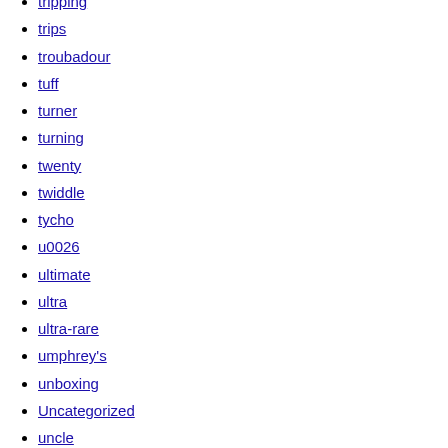tripping
trips
troubadour
tuff
turner
turning
twenty
twiddle
tycho
u0026
ultimate
ultra
ultra-rare
umphrey's
unboxing
Uncategorized
uncle
unforgettable
unsigned
vain
vanilla
vegas
velvet
venom
ventures
verdena
verve
very